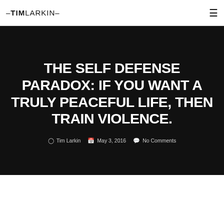–TIM LARKIN–
THE SELF DEFENSE PARADOX: IF YOU WANT A TRULY PEACEFUL LIFE, THEN TRAIN VIOLENCE.
Tim Larkin  May 3, 2016  No Comments